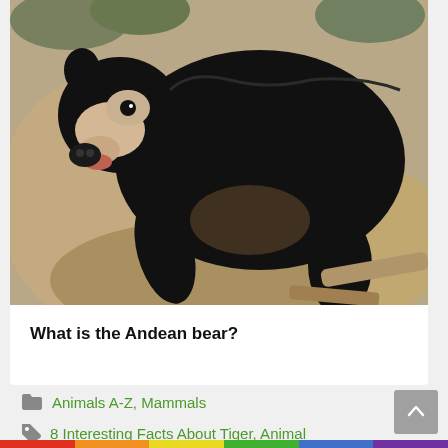[Figure (photo): A large black Andean bear (spectacled bear) standing on rocky terrain, viewed from the side. The bear has a pale/cream-colored face marking around the muzzle and eyes, and thick black fur covering its body.]
What is the Andean bear?
Animals A-Z, Mammals
8 Interesting Facts About Tiger, Animal